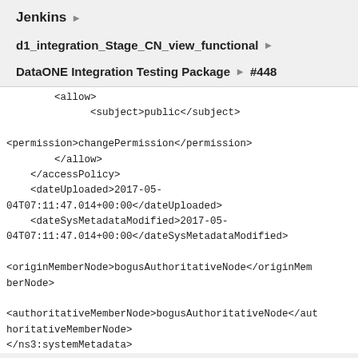Jenkins
d1_integration_Stage_CN_view_functional
DataONE Integration Testing Package  #448
<allow>
              <subject>public</subject>

<permission>changePermission</permission>
        </allow>
    </accessPolicy>
    <dateUploaded>2017-05-04T07:11:47.014+00:00</dateUploaded>
    <dateSysMetadataModified>2017-05-04T07:11:47.014+00:00</dateSysMetadataModified>

<originMemberNode>bogusAuthoritativeNode</originMemberNode>

<authoritativeMemberNode>bogusAuthoritativeNode</authoritativeMemberNode>
</ns3:systemMetadata>